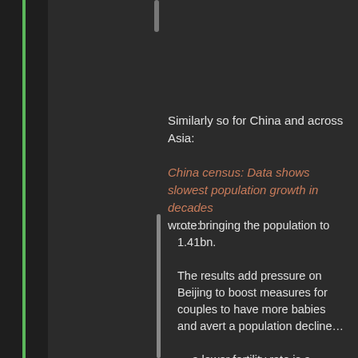Similarly so for China and across Asia:
China census: Data shows slowest population growth in decades wrote:
... - bringing the population to 1.41bn.

The results add pressure on Beijing to boost measures for couples to have more babies and avert a population decline...

... a lower fertility rate is a natural result of China's